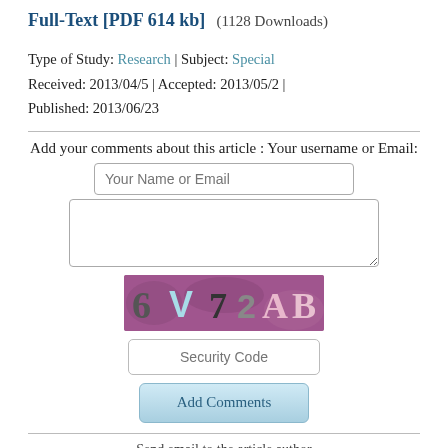Full-Text [PDF 614 kb]  (1128 Downloads)
Type of Study: Research | Subject: Special
Received: 2013/04/5 | Accepted: 2013/05/2 | Published: 2013/06/23
Add your comments about this article : Your username or Email:
[Figure (other): CAPTCHA image showing characters: 6V72AB on a purple background]
Send email to the article author